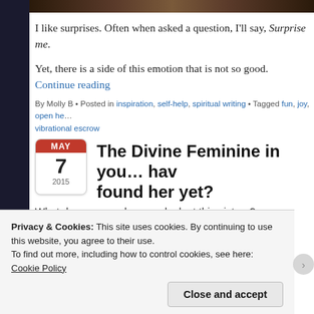[Figure (photo): Top cropped photo strip, dark brown tones, partial image visible]
I like surprises. Often when asked a question, I'll say, Surprise me.
Yet, there is a side of this emotion that is not so good. Continue reading
By Molly B • Posted in inspiration, self-help, spiritual writing • Tagged fun, joy, open he… vibrational escrow
The Divine Feminine in you… hav… found her yet?
What do you see when you look at this picture?
[Figure (photo): Partial photo showing earthy/rocky texture, brown and grey tones]
Privacy & Cookies: This site uses cookies. By continuing to use this website, you agree to their use.
To find out more, including how to control cookies, see here: Cookie Policy
Close and accept